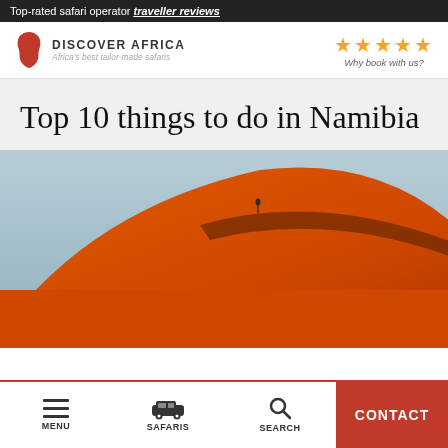Top-rated safari operator traveller reviews
[Figure (logo): Discover Africa logo with red Africa continent shape icon and text 'DISCOVER AFRICA, Africa's best tailor-made safaris', along with 5 gold stars and 'Why book with us?']
Top 10 things to do in Namibia
[Figure (photo): Aerial/close-up photo of a large orange sand dune ridge against a pale blue sky, with a tiny figure visible on the dune crest]
MENU  SAFARIS  SEARCH  CONTACT